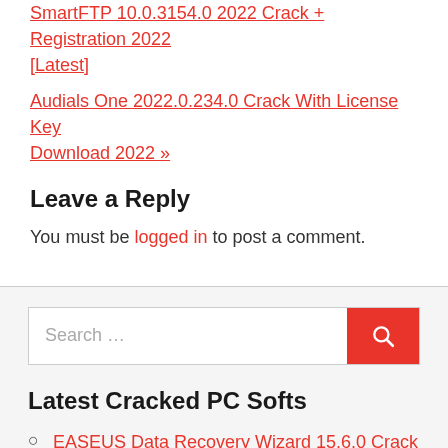SmartFTP 10.0.3154.0 2022 Crack + Registration 2022 [Latest]
Audials One 2022.0.234.0 Crack With License Key Download 2022 »
Leave a Reply
You must be logged in to post a comment.
[Figure (other): Search box with red search button]
Latest Cracked PC Softs
EASEUS Data Recovery Wizard 15.6.0 Crack With License Key [Latest]
EASEUS Data Recovery Wizard 15.6.0 Crack With